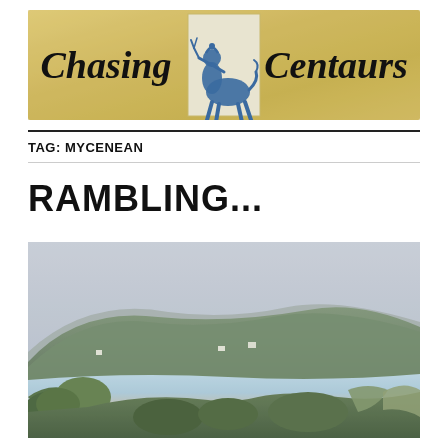[Figure (logo): Chasing Centaurs blog header banner with parchment/tan background, blue centaur illustration in center tile, text 'Chasing' on the left and 'Centaurs' on the right in black serif font]
TAG: MYCENEAN
RAMBLING...
[Figure (photo): Landscape photograph showing a coastal bay with tree-covered hills in the background under a hazy/cloudy sky, sandy beach with light blue water, foreground shows green shrubs and grasses, misty atmospheric conditions]